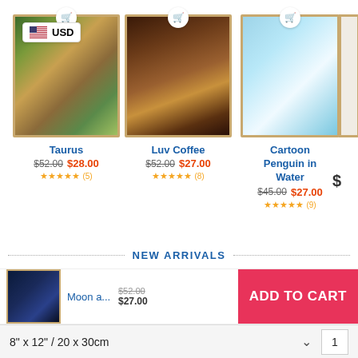[Figure (screenshot): Currency selector badge showing US flag and USD text]
[Figure (photo): Taurus artwork - fantasy painting with figures in colorful meadow, framed with gold border]
Taurus
$52.00 $28.00 ★★★★★ (5)
[Figure (photo): Luv Coffee artwork - coffee cup with coffee beans, framed with gold border]
Luv Coffee
$52.00 $27.00 ★★★★★ (8)
[Figure (photo): Cartoon Penguin in Water artwork - cute cartoon penguin, framed with gold border]
Cartoon Penguin in Water
$45.00 $27.00 ★★★★★ (9)
NEW ARRIVALS
[Figure (photo): Moon artwork thumbnail in cart bar]
Moon a... $52.00 $27.00 ADD TO CART
8" x 12" / 20 x 30cm